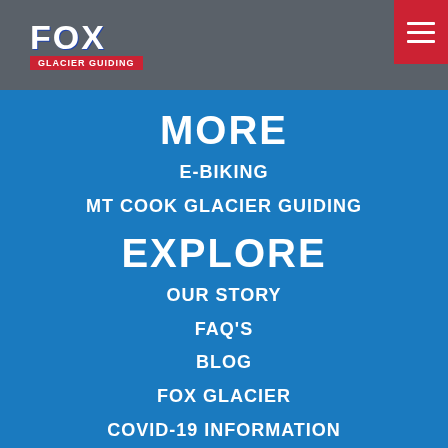[Figure (logo): Fox Glacier Guiding logo with red background subtitle bar]
MORE
E-BIKING
MT COOK GLACIER GUIDING
EXPLORE
OUR STORY
FAQ'S
BLOG
FOX GLACIER
COVID-19 INFORMATION
WAIVER
TERMS & CONDITIONS